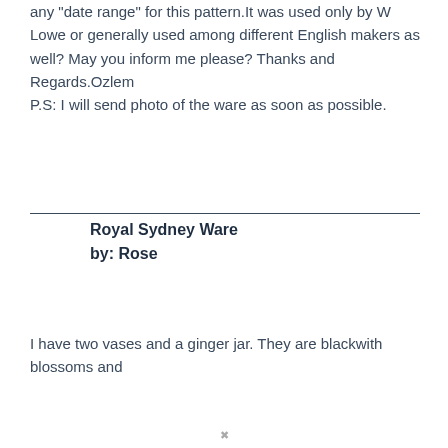any "date range" for this pattern.It was used only by W Lowe or generally used among different English makers as well? May you inform me please? Thanks and Regards.Ozlem
P.S: I will send photo of the ware as soon as possible.
Royal Sydney Ware
by: Rose
I have two vases and a ginger jar. They are blackwith blossoms and